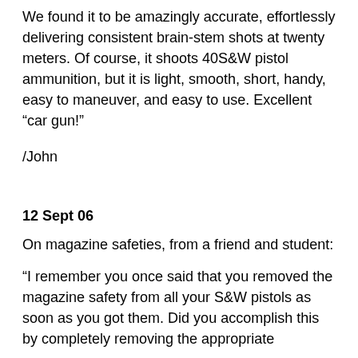We found it to be amazingly accurate, effortlessly delivering consistent brain-stem shots at twenty meters. Of course, it shoots 40S&W pistol ammunition, but it is light, smooth, short, handy, easy to maneuver, and easy to use. Excellent “car gun!”
/John
12 Sept 06
On magazine safeties, from a friend and student:
“I remember you once said that you removed the magazine safety from all your S&W pistols as soon as you got them. Did you accomplish this by completely removing the appropriate